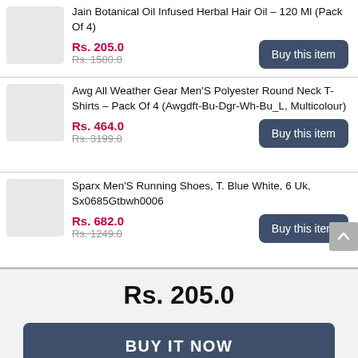Jain Botanical Oil Infused Herbal Hair Oil – 120 Ml (Pack Of 4)
Rs. 205.0 / Rs. 1580.0
Awg All Weather Gear Men'S Polyester Round Neck T-Shirts – Pack Of 4 (Awgdft-Bu-Dgr-Wh-Bu_L, Multicolour)
Rs. 464.0 / Rs. 3199.0
Sparx Men'S Running Shoes, T. Blue White, 6 Uk, Sx0685Gtbwh0006
Rs. 682.0 / Rs. 1249.0
Rs. 205.0
BUY IT NOW